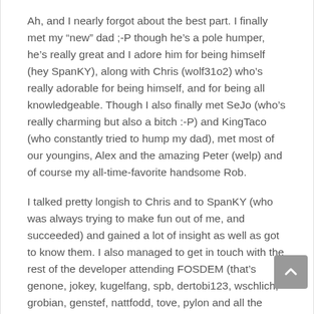Ah, and I nearly forgot about the best part. I finally met my “new” dad ;-P though he’s a pole humper, he’s really great and I adore him for being himself (hey SpanKY), along with Chris (wolf31o2) who’s really adorable for being himself, and for being all knowledgeable. Though I also finally met SeJo (who’s really charming but also a bitch :-P) and KingTaco (who constantly tried to hump my dad), met most of our youngins, Alex and the amazing Peter (welp) and of course my all-time-favorite handsome Rob.
I talked pretty longish to Chris and to SpanKY (who was always trying to make fun out of me, and succeeded) and gained a lot of insight as well as got to know them. I also managed to get in touch with the rest of the developer attending FOSDEM (that’s genone, jokey, kugelfang, spb, dertobi123, wschlich, grobian, genstef, nattfodd, tove, pylon and all the other ...).
Later, in the evening we went to some restaurant (by...